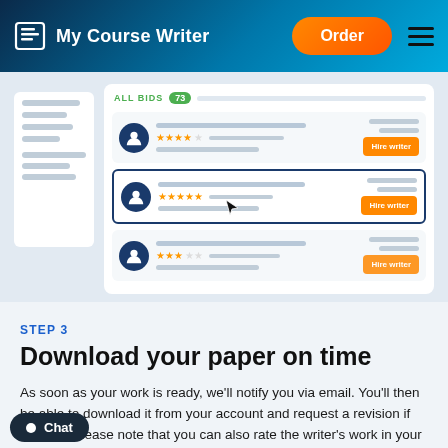My Course Writer | Order
[Figure (screenshot): Screenshot of a bidding interface showing 'ALL BIDS 73' with three writer profiles, star ratings (4 stars, 5 stars, 3 stars), and 'Hire writer' orange buttons. The second row is selected/highlighted with a cursor icon visible.]
STEP 3
Download your paper on time
As soon as your work is ready, we'll notify you via email. You'll then be able to download it from your account and request a revision if needed. Please note that you can also rate the writer's work in your